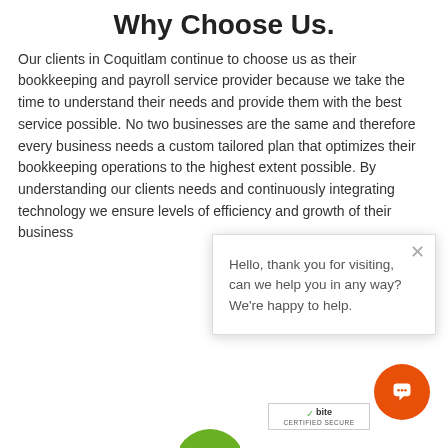Why Choose Us.
Our clients in Coquitlam continue to choose us as their bookkeeping and payroll service provider because we take the time to understand their needs and provide them with the best service possible. No two businesses are the same and therefore every business needs a custom tailored plan that optimizes their bookkeeping operations to the highest extent possible. By understanding our clients needs and continuously integrating technology we ensure levels of efficiency and growth of their business
Hello, thank you for visiting, can we help you in any way? We're happy to help.